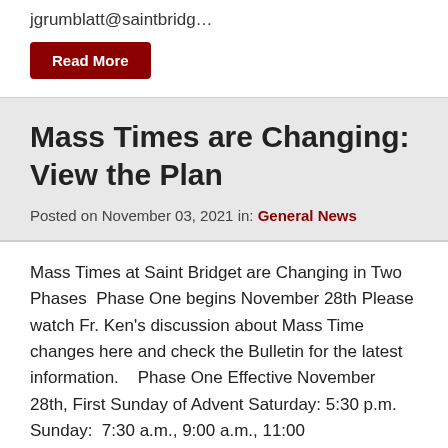jgrumblatt@saintbridg…
Read More
Mass Times are Changing: View the Plan
Posted on November 03, 2021 in: General News
Mass Times at Saint Bridget are Changing in Two Phases  Phase One begins November 28th Please watch Fr. Ken's discussion about Mass Time changes here and check the Bulletin for the latest information.    Phase One Effective November 28th, First Sunday of Advent Saturday: 5:30 p.m. Sunday:  7:30 a.m., 9:00 a.m., 11:00 a.m.,            5:00 p.m. at Saint Bridget Phase Two Effective January 15th